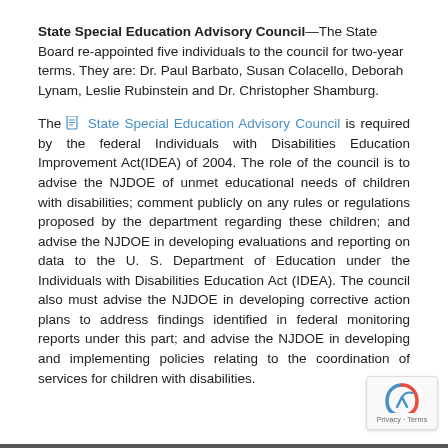State Special Education Advisory Council—The State Board re-appointed five individuals to the council for two-year terms. They are: Dr. Paul Barbato, Susan Colacello, Deborah Lynam, Leslie Rubinstein and Dr. Christopher Shamburg.
The [icon] State Special Education Advisory Council is required by the federal Individuals with Disabilities Education Improvement Act(IDEA) of 2004. The role of the council is to advise the NJDOE of unmet educational needs of children with disabilities; comment publicly on any rules or regulations proposed by the department regarding these children; and advise the NJDOE in developing evaluations and reporting on data to the U. S. Department of Education under the Individuals with Disabilities Education Act (IDEA). The council also must advise the NJDOE in developing corrective action plans to address findings identified in federal monitoring reports under this part; and advise the NJDOE in developing and implementing policies relating to the coordination of services for children with disabilities.